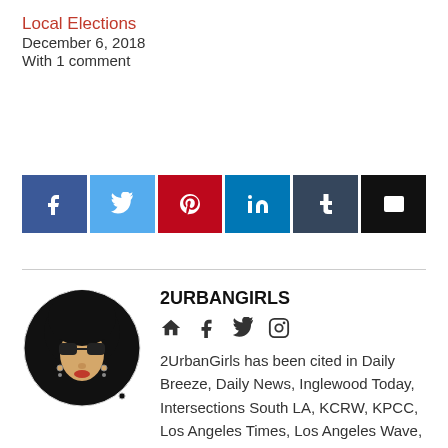Local Elections
December 6, 2018
With 1 comment
[Figure (infographic): Row of six social share buttons: Facebook (blue), Twitter (light blue), Pinterest (red), LinkedIn (teal), Tumblr (dark slate), Email (black), each with a white icon]
2URBANGIRLS
[Figure (illustration): Circular logo of 2UrbanGirls showing a woman with a large afro, sunglasses, and red lips]
2UrbanGirls has been cited in Daily Breeze, Daily News, Inglewood Today, Intersections South LA, KCRW, KPCC, Los Angeles Times, Los Angeles Wave, LA Weekly, LA Watts Times, Mercury News, New York